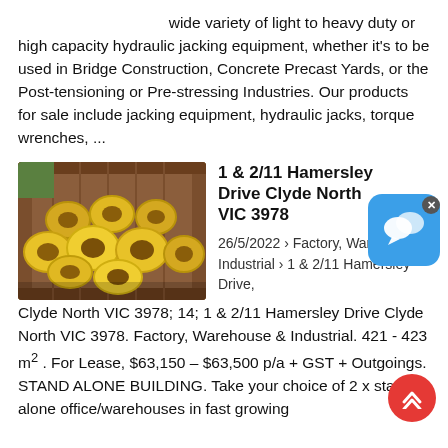wide variety of light to heavy duty or high capacity hydraulic jacking equipment, whether it’s to be used in Bridge Construction, Concrete Precast Yards, or the Post-tensioning or Pre-stressing Industries. Our products for sale include jacking equipment, hydraulic jacks, torque wrenches, ...
[Figure (photo): Photo of yellow hydraulic jacking rings/seals stored inside a shipping container]
1 & 2/11 Hamersley Drive Clyde North VIC 3978
26/5/2022 › Factory, Warehouse & Industrial › 1 & 2/11 Hamersley Drive, Clyde North VIC 3978; 14; 1 & 2/11 Hamersley Drive Clyde North VIC 3978. Factory, Warehouse & Industrial. 421 - 423 m² . For Lease, $63,150 – $63,500 p/a + GST + Outgoings. STAND ALONE BUILDING. Take your choice of 2 x stand alone office/warehouses in fast growing